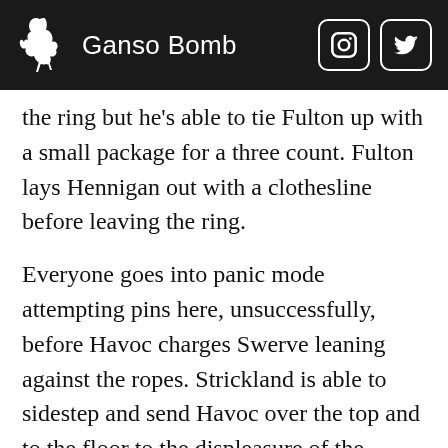Ganso Bomb
the ring but he's able to tie Fulton up with a small package for a three count. Fulton lays Hennigan out with a clothesline before leaving the ring.
Everyone goes into panic mode attempting pins here, unsuccessfully, before Havoc charges Swerve leaning against the ropes. Strickland is able to sidestep and send Havoc over the top and to the floor to the displeasure of the crowd. Definitely seems like Havoc could have been utilized for longer here. Callihan tries to toss Strickland over the